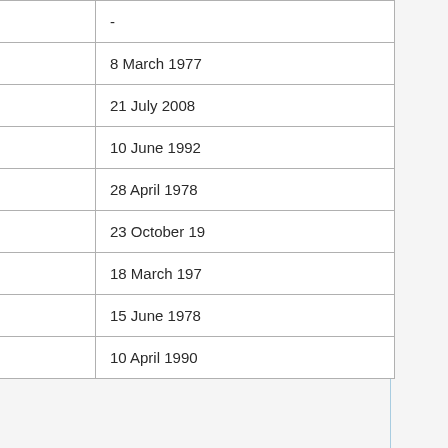| Country | Date 1 | Date 2 |
| --- | --- | --- |
| Palau | September 2011 | - |
| Panama | 27 July 1976 | 8 March 1977 |
| Papua New Guinea | - | 21 July 2008 |
| Paraguay | - | 10 June 1992 |
| Peru | 11 August 1977 | 28 April 1978 |
| Philippines | 19 December 1966 | 23 October 19… |
| Poland | 2 March 1967 | 18 March 197… |
| Portugal | 7 October 1976 | 15 June 1978 |
| Republic of Korea | - | 10 April 1990 |